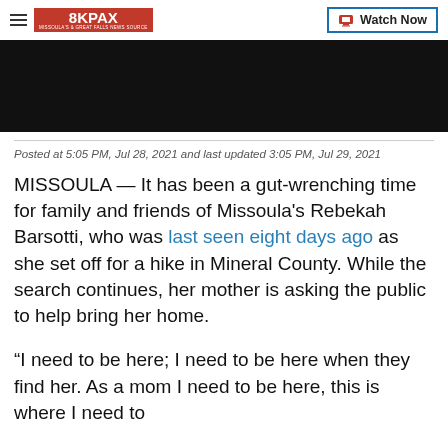8KPAX | Watch Now
[Figure (screenshot): Black video player placeholder area]
Posted at 5:05 PM, Jul 28, 2021 and last updated 3:05 PM, Jul 29, 2021
MISSOULA — It has been a gut-wrenching time for family and friends of Missoula's Rebekah Barsotti, who was last seen eight days ago as she set off for a hike in Mineral County. While the search continues, her mother is asking the public to help bring her home.
“I need to be here; I need to be here when they find her. As a mom I need to be here, this is where I need to